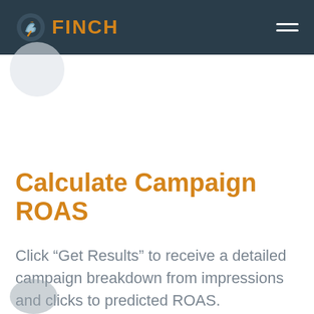FINCH
Calculate Campaign ROAS
Click “Get Results” to receive a detailed campaign breakdown from impressions and clicks to predicted ROAS.